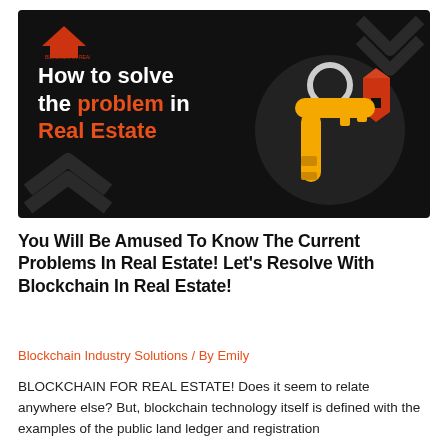[Figure (illustration): Dark banner image with text 'How to solve the problem in Real Estate' and an illustration of a gold key with a red house keychain on the right side, against a black background. A small red house/logo icon appears in the top left.]
You Will Be Amused To Know The Current Problems In Real Estate! Let's Resolve With Blockchain In Real Estate!
Blockchain Industry Solutions / By Emily
BLOCKCHAIN FOR REAL ESTATE! Does it seem to relate anywhere else? But, blockchain technology itself is defined with the examples of the public land ledger and registration